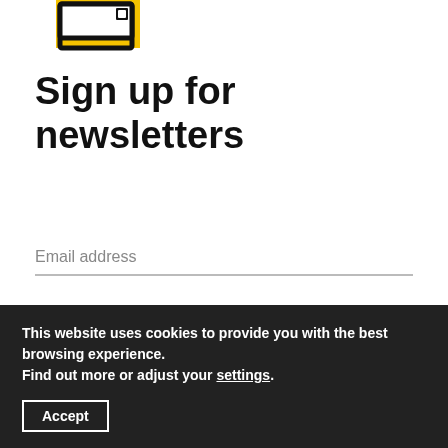[Figure (logo): Yellow and black logo icon — laptop/screen outline with yellow fill, partially visible at top of page]
Sign up for newsletters
Email address
By submitting your email address, you acknowledge that you have read the Privacy Statement and that you
This website uses cookies to provide you with the best browsing experience.
Find out more or adjust your settings.
Accept